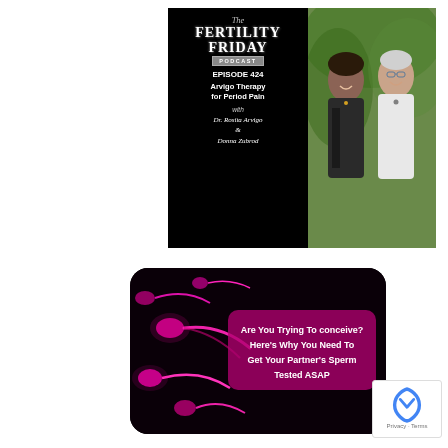[Figure (illustration): The Fertility Friday Podcast Episode 424 - Arvigo Therapy for Period Pain with Dr. Rosita Arvigo & Donna Zubrod. Left side: black background with podcast title and episode info. Right side: photo of two women smiling outdoors.]
[Figure (illustration): Promotional image on black/dark background with pink sperm cells. Text overlay reads: Are You Trying To conceive? Here's Why You Need To Get Your Partner's Sperm Tested ASAP]
[Figure (logo): Google reCAPTCHA badge with Privacy and Terms links]